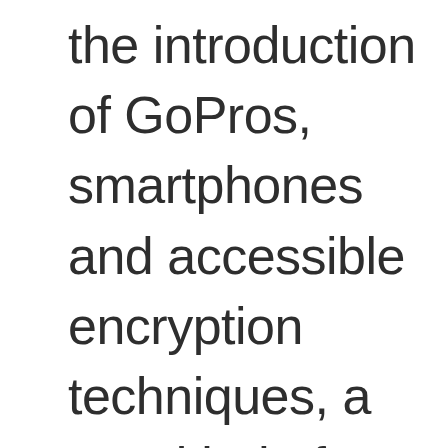the introduction of GoPros, smartphones and accessible encryption techniques, a new kind of vigilante...